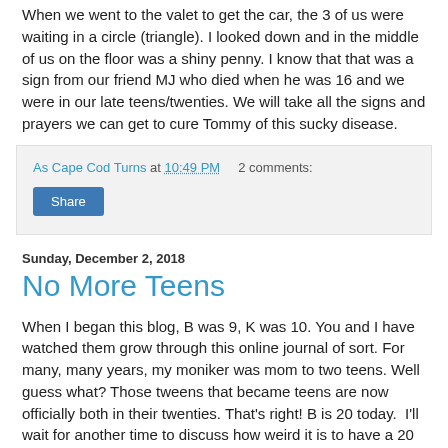When we went to the valet to get the car, the 3 of us were waiting in a circle (triangle). I looked down and in the middle of us on the floor was a shiny penny. I know that that was a sign from our friend MJ who died when he was 16 and we were in our late teens/twenties. We will take all the signs and prayers we can get to cure Tommy of this sucky disease.
As Cape Cod Turns at 10:49 PM    2 comments:
Share
Sunday, December 2, 2018
No More Teens
When I began this blog, B was 9, K was 10. You and I have watched them grow through this online journal of sort. For many, many years, my moniker was mom to two teens. Well guess what? Those tweens that became teens are now officially both in their twenties. That's right! B is 20 today.  I'll wait for another time to discuss how weird it is to have a 20 and 21 year old. Today, we celebrate B!